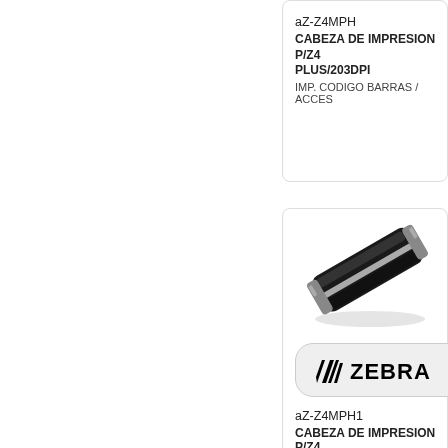aZ-Z4MPH
CABEZA DE IMPRESION P/Z4 PLUS/203DPI
IMP. CODIGO BARRAS / ACCES
[Figure (photo): Zebra printhead component, black cylindrical roll shape]
[Figure (logo): Zebra brand logo with stylized zebra stripe icon]
aZ-Z4MPH1
CABEZA DE IMPRESION P/Z4
IMP. CODIGO BARRAS / ACCES
[Figure (photo): Zebra printhead component, flat elongated bar shape with metal ends]